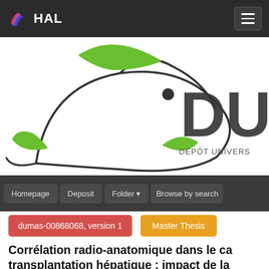HAL
[Figure (logo): DUMAS / HAL repository logo — stylized bird (kiwi) outline in dark gray with green accent strokes, beside large bold text 'DU' and subtitle 'DÉPÔT UNIVERS']
Homepage | Deposit | Folder | Browse by search
dumas-00868068, version 1
Master Thesis
Corrélation radio-anatomique dans le ca transplantation hépatique : impact de la